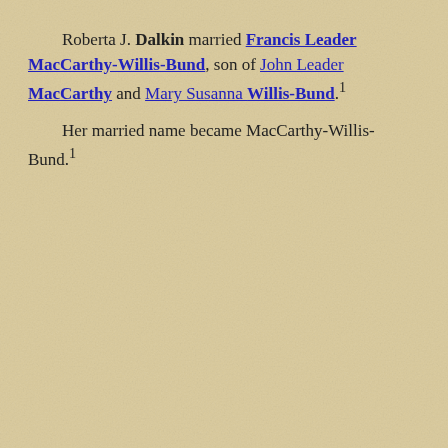Roberta J. Dalkin married Francis Leader MacCarthy-Willis-Bund, son of John Leader MacCarthy and Mary Susanna Willis-Bund.1 Her married name became MacCarthy-Willis-Bund.1